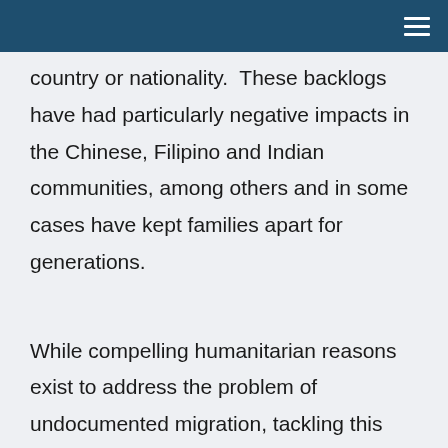country or nationality.  These backlogs have had particularly negative impacts in the Chinese, Filipino and Indian communities, among others and in some cases have kept families apart for generations.
While compelling humanitarian reasons exist to address the problem of undocumented migration, tackling this problem in a